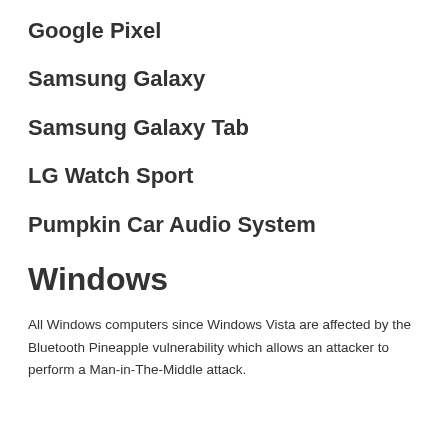Google Pixel
Samsung Galaxy
Samsung Galaxy Tab
LG Watch Sport
Pumpkin Car Audio System
Windows
All Windows computers since Windows Vista are affected by the Bluetooth Pineapple vulnerability which allows an attacker to perform a Man-in-The-Middle attack.